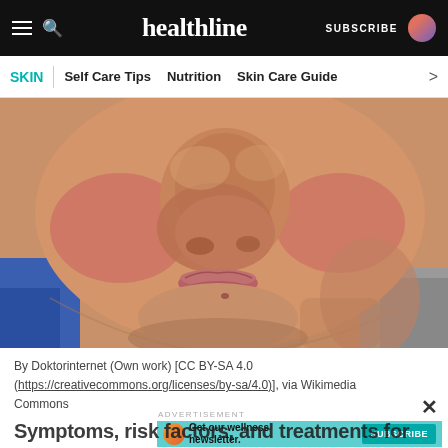healthline  SUBSCRIBE
SKIN  Self Care Tips  Nutrition  Skin Care Guide
[Figure (photo): Close-up photo of a person's face showing redness and swelling on the nose and cheeks, consistent with a skin condition such as rosacea or lupus. Background shows blue and gray clothing.]
By Doktorinternet (Own work) [CC BY-SA 4.0 (https://creativecommons.org/licenses/by-sa/4.0)], via Wikimedia Commons
Symptoms, risk factors, and treatments for...